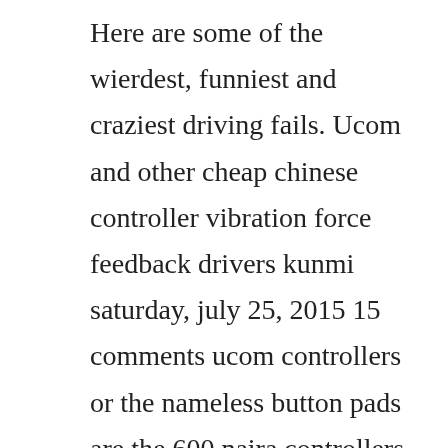Here are some of the wierdest, funniest and craziest driving fails. Ucom and other cheap chinese controller vibration force feedback drivers kunmi saturday, july 25, 2015 15 comments ucom controllers or the nameless button pads are the 600 naira controllers weve all bought at some point or rented from haastrup back in jaja days to do some quick gaming. Send and receive any type of file up to a massive 5gb with unlimited file bandwidth. For the franchises that have generated the most revenue, see the list of highestgrossing video game franchises. Read